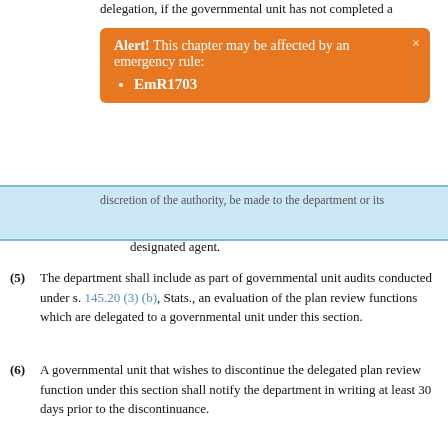delegation, if the governmental unit has not completed a
[Figure (other): Orange alert box overlay: Alert! This chapter may be affected by an emergency rule: EmR1703 with close button]
discretion of the authority, be made to the department or its designated agent.
(5) The department shall include as part of governmental unit audits conducted under s. 145.20 (3) (b), Stats., an evaluation of the plan review functions which are delegated to a governmental unit under this section.
(6) A governmental unit that wishes to discontinue the delegated plan review function under this section shall notify the department in writing at least 30 days prior to the discontinuance.
(7)
(a) The recognition as a review agent may be revoked by the department in accordance with s. 145.20 (3) (a) 2., Stats.
(b) The department may revoke the delegation as a plan review agent, if the governmental unit has not completed a POWTS inventory or is not operating a maintenance program required under s. SPS 383.255.
History: Cr. Register, April, 2000, No. 532, eff. 7-1-00; CR 02-1 am. (3) (a) and (b) Register January 2004 No. 577, eff. 2-1-04; CR